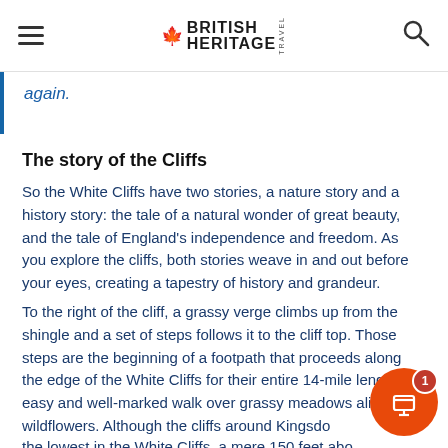British Heritage Travel
again.
The story of the Cliffs
So the White Cliffs have two stories, a nature story and a history story: the tale of a natural wonder of great beauty, and the tale of England's independence and freedom. As you explore the cliffs, both stories weave in and out before your eyes, creating a tapestry of history and grandeur.
To the right of the cliff, a grassy verge climbs up from the shingle and a set of steps follows it to the cliff top. Those steps are the beginning of a footpath that proceeds along the edge of the White Cliffs for their entire 14-mile length, an easy and well-marked walk over grassy meadows alive with wildflowers. Although the cliffs around Kingsdown are the lowest in the White Cliffs, a mere 150 feet above the sea, the views are spectacular.